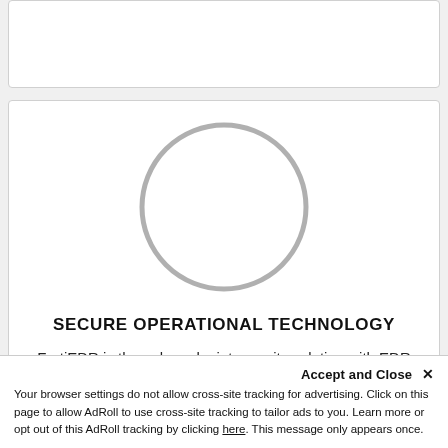[Figure (illustration): Top card placeholder — white rectangle with border, content cropped/empty]
[Figure (illustration): Main card featuring a circle outline placeholder image in center, title 'SECURE OPERATIONAL TECHNOLOGY', and body text about FortiEDR]
SECURE OPERATIONAL TECHNOLOGY
FortiEDR is the only endpoint security solution with EDR that ensures high availability for OT systems even in the event of an attack and defuses threats.
Accept and Close ✕
Your browser settings do not allow cross-site tracking for advertising. Click on this page to allow AdRoll to use cross-site tracking to tailor ads to you. Learn more or opt out of this AdRoll tracking by clicking here. This message only appears once.